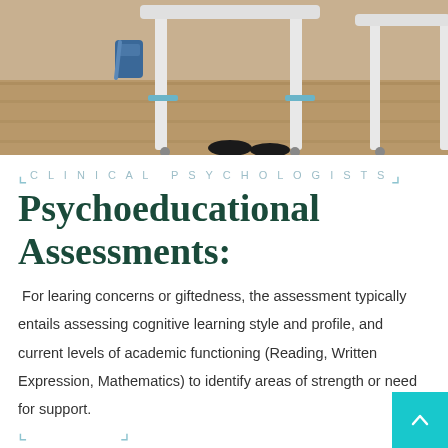[Figure (photo): Photograph of a classroom or clinical setting showing desk legs and chairs on a wooden floor, with a backpack and person's feet visible]
CLINICAL PSYCHOLOGISTS
Psychoeducational Assessments:
For learing concerns or giftedness, the assessment typically entails assessing cognitive learning style and profile, and current levels of academic functioning (Reading, Written Expression, Mathematics) to identify areas of strength or need for support.